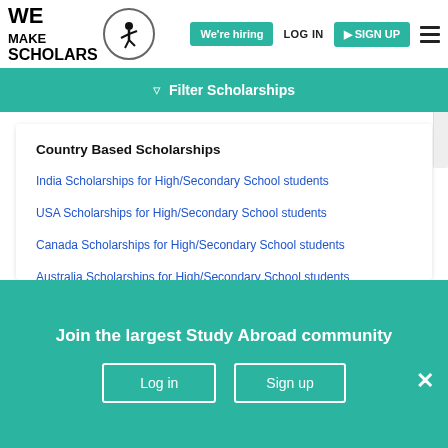[Figure (logo): We Make Scholars logo with stylized figure jumping inside a circle]
We're hiring | LOG IN | SIGN UP
Filter Scholarships
Country Based Scholarships
India Scholarships for High/Secondary School students
USA Scholarships for High/Secondary School students
Canada Scholarships for High/Secondary School students
Australia Scholarships for High/Secondary School students
Join the largest Study Abroad community
Log in
Sign up